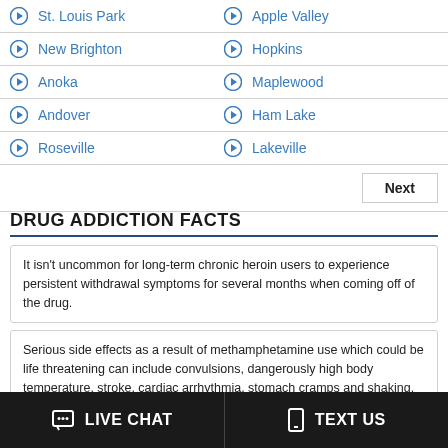St. Louis Park
Apple Valley
New Brighton
Hopkins
Anoka
Maplewood
Andover
Ham Lake
Roseville
Lakeville
DRUG ADDICTION FACTS
It isn't uncommon for long-term chronic heroin users to experience persistent withdrawal symptoms for several months when coming off of the drug.
Serious side effects as a result of methamphetamine use which could be life threatening can include convulsions, dangerously high body temperature, stroke, cardiac arrhythmia, stomach cramps and shaking.
When abused, prescription stimulants can increase brain dopamine in a manner that is similar to other drugs of abuse such as methamphetamine, which in turn raises the risk of addiction.
LIVE CHAT   TEXT US